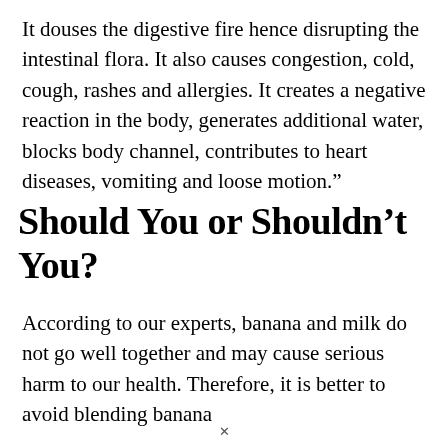It douses the digestive fire hence disrupting the intestinal flora. It also causes congestion, cold, cough, rashes and allergies. It creates a negative reaction in the body, generates additional water, blocks body channel, contributes to heart diseases, vomiting and loose motion.”
Should You or Shouldn’t You?
According to our experts, banana and milk do not go well together and may cause serious harm to our health. Therefore, it is better to avoid blending banana